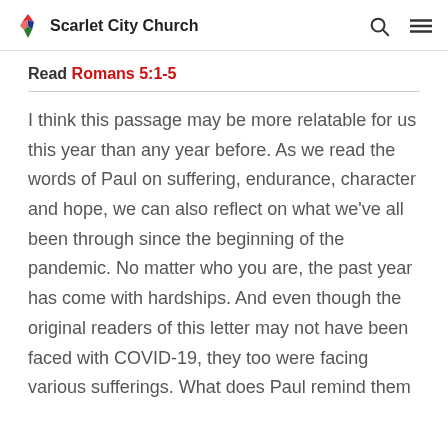Scarlet City Church
Read Romans 5:1-5
I think this passage may be more relatable for us this year than any year before. As we read the words of Paul on suffering, endurance, character and hope, we can also reflect on what we've all been through since the beginning of the pandemic. No matter who you are, the past year has come with hardships. And even though the original readers of this letter may not have been faced with COVID-19, they too were facing various sufferings. What does Paul remind them